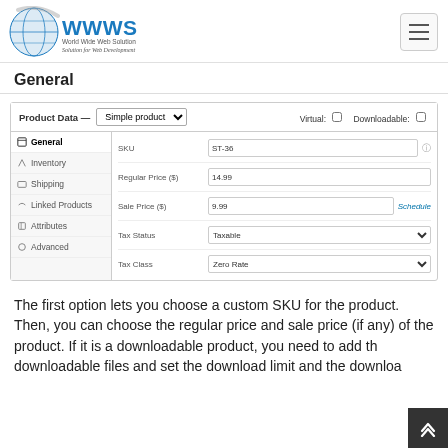World Wide Web Solution — Solution for Web Development
General
[Figure (screenshot): WooCommerce product data panel showing fields: SKU (ST-36), Regular Price ($14.99), Sale Price ($9.99), Tax Status (Taxable), Tax Class (Zero Rate). Left nav shows: General (active), Inventory, Shipping, Linked Products, Attributes, Advanced.]
The first option lets you choose a custom SKU for the product. Then, you can choose the regular price and sale price (if any) of the product. If it is a downloadable product, you need to add the downloadable files and set the download limit and the download